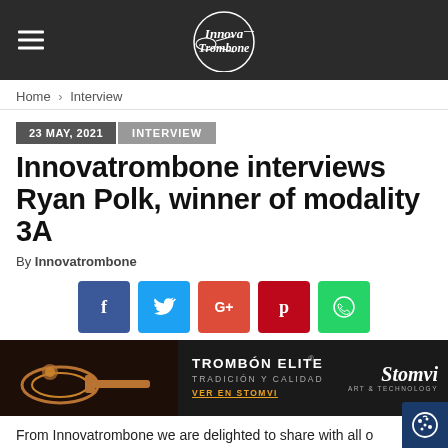Innova Trombone (logo/header bar)
Home › Interview
23 MAY, 2021  INTERVIEW
Innovatrombone interviews Ryan Polk, winner of modality 3A
By Innovatrombone
[Figure (infographic): Social share buttons: Facebook, Twitter, Google+, Pinterest, WhatsApp]
[Figure (infographic): Stomvi banner ad: TROMBÓN ELITE – TRADICIÓN Y CALIDAD – VER EN STOMVI, with trombone image on left and Stomvi logo on right]
From Innovatrombone we are delighted to share with all o